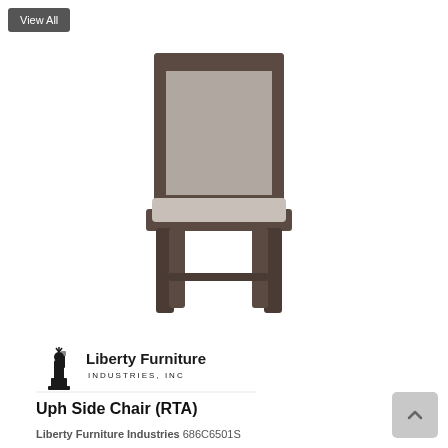View All
[Figure (photo): An upholstered dining side chair with dark gray/brown wooden frame and light gray fabric seat and back panel, shown on white background.]
[Figure (logo): Liberty Furniture Industries, Inc. logo with Statue of Liberty icon and company name in bold serif font.]
Uph Side Chair (RTA)
Liberty Furniture Industries 686C6501S